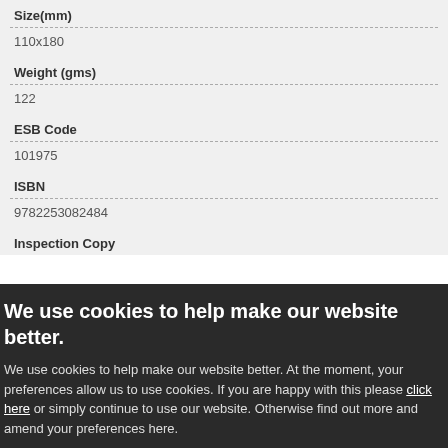Size(mm)
110x180
Weight (gms)
122
ESB Code
101975
ISBN
9782253082484
Inspection Copy
We use cookies to help make our website better.
We use cookies to help make our website better. At the moment, your preferences allow us to use cookies. If you are happy with this please click here or simply continue to use our website. Otherwise find out more and amend your preferences here.